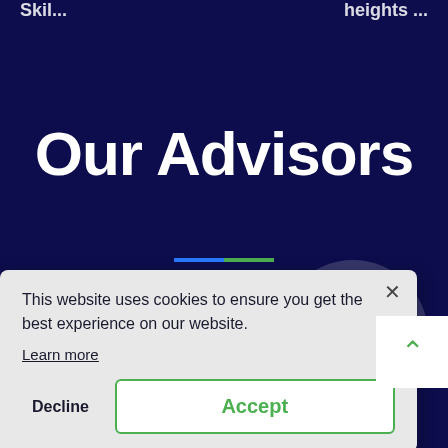Skil... heights ...
Our Advisors
This website uses cookies to ensure you get the best experience on our website.
Learn more
Decline
Accept
Mustapha Cole
Award
He is an accomplished
He has helped Safeth